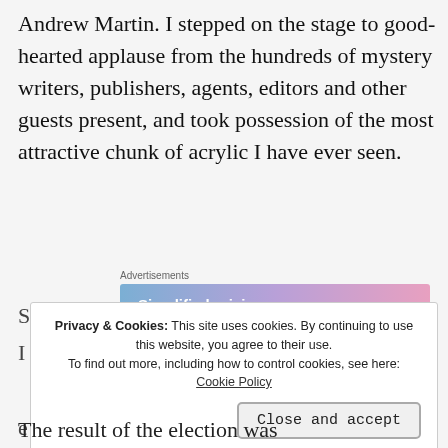Andrew Martin. I stepped on the stage to good-hearted applause from the hundreds of mystery writers, publishers, agents, editors and other guests present, and took possession of the most attractive chunk of acrylic I have ever seen.
[Figure (screenshot): WordPress.com advertisement banner with gradient background (blue to pink/purple). Text reads 'Simplified pricing for everything you need.' with WordPress.com logo on right.]
Privacy & Cookies: This site uses cookies. By continuing to use this website, you agree to their use.
To find out more, including how to control cookies, see here:
Cookie Policy
[Close and accept button]